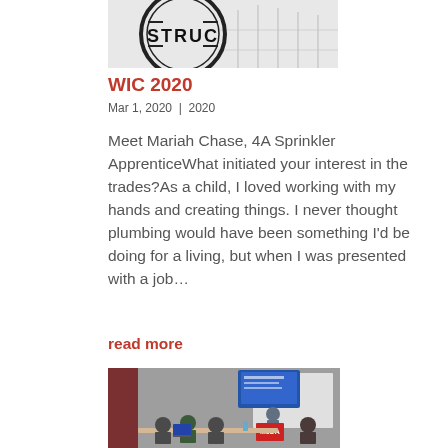[Figure (illustration): Partial logo/stamp at top with text 'STRUC' visible and architectural/building illustration in background]
WIC 2020
Mar 1, 2020 | 2020
Meet Mariah Chase, 4A Sprinkler ApprenticeWhat initiated your interest in the trades?As a child, I loved working with my hands and creating things. I never thought plumbing would have been something I'd be doing for a living, but when I was presented with a job…
read more
[Figure (photo): Classroom or training room scene with instructor standing at a whiteboard/screen, multiple people seated at tables with laptops, a red cart/stand with MJDA branding visible]